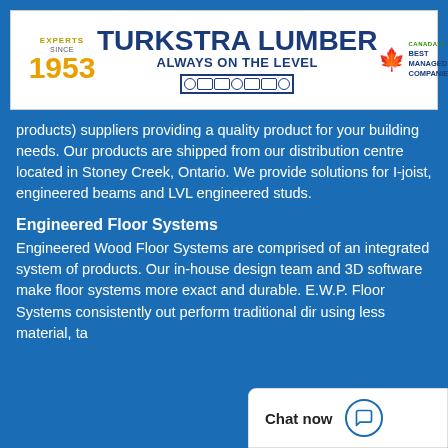[Figure (logo): Turkstra Lumber banner ad. Left: 'EXPERTS SINCE 1953' in yellow. Center: 'TURKSTRA LUMBER' in large dark blue bold text, 'ALWAYS ON THE LEVEL' in dark blue bold, decorative lumber icon bar. Right: Canada's Best Managed Companies logo with green maple leaf.]
products) suppliers providing a quality product for your building needs. Our products are shipped from our distribution centre located in Stoney Creek, Ontario. We provide solutions for I-joist, engineered beams and LVL engineered studs.
Engineered Floor Systems
Engineered Wood Floor Systems are comprised of an integrated system of products. Our in-house design team and 3D software make floor systems more exact and durable. E.W.P. Floor Systems consistently out perform traditional dir using less material, ta